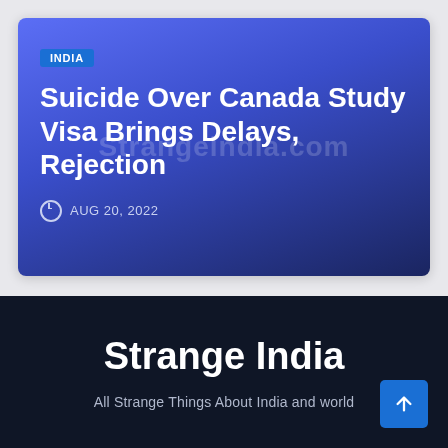[Figure (screenshot): Article card with blue/navy gradient background showing an India category badge, article title, and publication date]
Suicide Over Canada Study Visa Brings Delays, Rejection
AUG 20, 2022
Strange India
All Strange Things About India and world